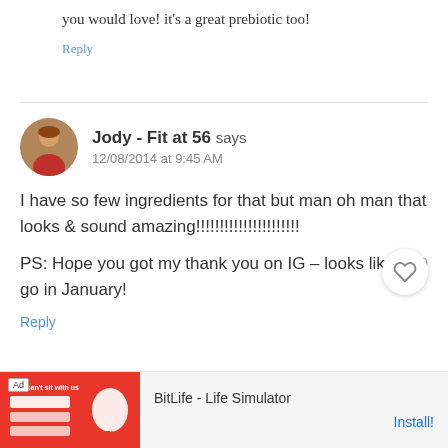you would love! it's a great prebiotic too!
Reply
Jody - Fit at 56 says
12/08/2014 at 9:45 AM
I have so few ingredients for that but man oh man that looks & sound amazing!!!!!!!!!!!!!!!!!!!!!!
PS: Hope you got my thank you on IG – looks like a go in January!
Reply
[Figure (other): BitLife - Life Simulator advertisement banner with red background and sperm cell graphic, showing Ad label and Install button]